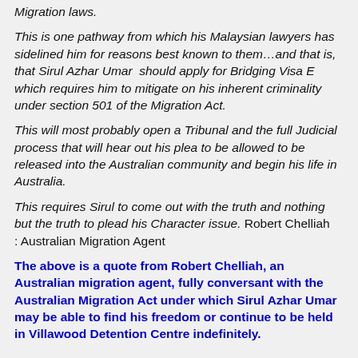Migration laws.
This is one pathway from which his Malaysian lawyers has sidelined him for reasons best known to them…and that is, that Sirul Azhar Umar  should apply for Bridging Visa E which requires him to mitigate on his inherent criminality under section 501 of the Migration Act.
This will most probably open a Tribunal and the full Judicial process that will hear out his plea to be allowed to be released into the Australian community and begin his life in Australia.
This requires Sirul to come out with the truth and nothing but the truth to plead his Character issue. Robert Chelliah : Australian Migration Agent
The above is a quote from Robert Chelliah, an Australian migration agent, fully conversant with the Australian Migration Act under which Sirul Azhar Umar may be able to find his freedom or continue to be held in Villawood Detention Centre indefinitely.